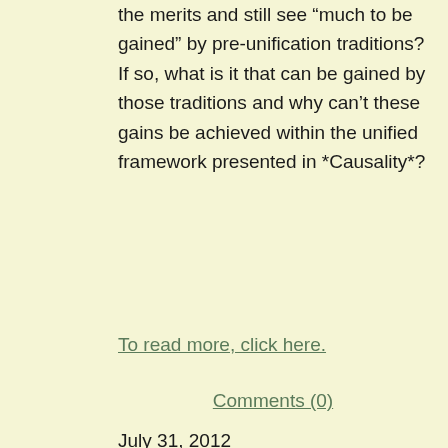the merits and still see “much to be gained” by pre-unification traditions? If so, what is it that can be gained by those traditions and why can’t these gains be achieved within the unified framework presented in *Causality*?
To read more, click here.
Comments (0)
July 31, 2012